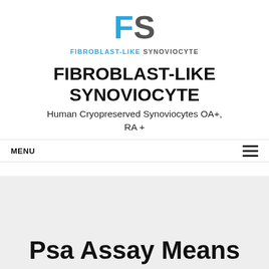[Figure (logo): FS logo with 'F' in blue and 'S' in gray, large stylized letters]
FIBROBLAST-LIKE SYNOVIOCYTE
FIBROBLAST-LIKE SYNOVIOCYTE
Human Cryopreserved Synoviocytes OA+, RA +
MENU
Psa Assay Means